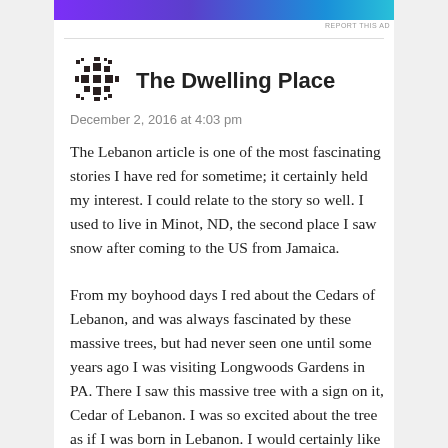[Figure (logo): Snowflake/asterisk pixel-art logo for The Dwelling Place blog]
The Dwelling Place
December 2, 2016 at 4:03 pm
The Lebanon article is one of the most fascinating stories I have red for sometime; it certainly held my interest. I could relate to the story so well. I used to live in Minot, ND, the second place I saw snow after coming to the US from Jamaica.
From my boyhood days I red about the Cedars of Lebanon, and was always fascinated by these massive trees, but had never seen one until some years ago I was visiting Longwoods Gardens in PA. There I saw this massive tree with a sign on it, Cedar of Lebanon. I was so excited about the tree as if I was born in Lebanon. I would certainly like to know more